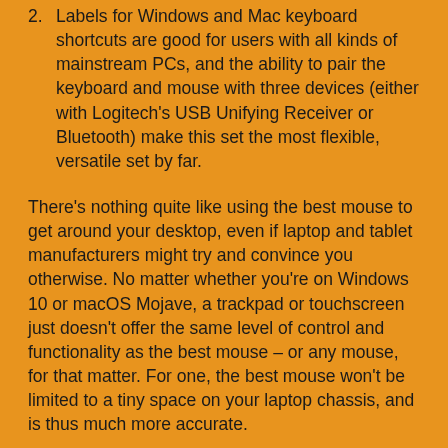2. Labels for Windows and Mac keyboard shortcuts are good for users with all kinds of mainstream PCs, and the ability to pair the keyboard and mouse with three devices (either with Logitech's USB Unifying Receiver or Bluetooth) make this set the most flexible, versatile set by far.
There's nothing quite like using the best mouse to get around your desktop, even if laptop and tablet manufacturers might try and convince you otherwise. No matter whether you're on Windows 10 or macOS Mojave, a trackpad or touchscreen just doesn't offer the same level of control and functionality as the best mouse – or any mouse, for that matter. For one, the best mouse won't be limited to a tiny space on your laptop chassis, and is thus much more accurate.
Picking up the best mouse on the market will make an older mouse seem like a relic of some bygone age. But, before you go online to purchase the best mouse, there are a couple things you need to consider. Are you thinking about going for a wireless mouse or would a wired one be more appropriate? Are you just looking for one of the best gaming mice or do you want